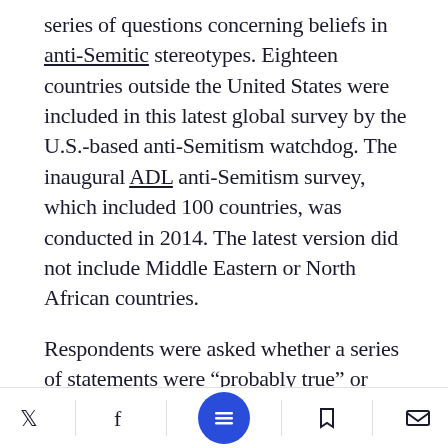series of questions concerning beliefs in anti-Semitic stereotypes. Eighteen countries outside the United States were included in this latest global survey by the U.S.-based anti-Semitism watchdog. The inaugural ADL anti-Semitism survey, which included 100 countries, was conducted in 2014. The latest version did not include Middle Eastern or North African countries.

Respondents were asked whether a series of statements were “probably true” or “probably false.” These included: Jews are more loyal to Israel than to the co[untry] they live in; Jews
Twitter | Facebook | Menu | Bookmark | Email